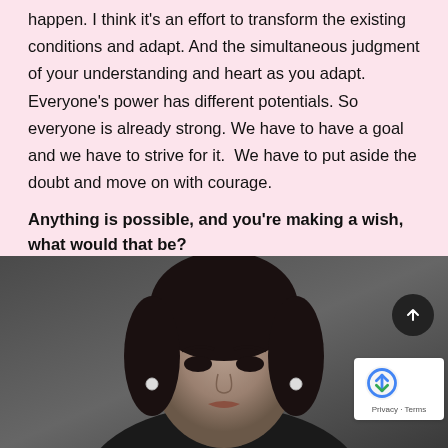happen. I think it's an effort to transform the existing conditions and adapt. And the simultaneous judgment of your understanding and heart as you adapt. Everyone's power has different potentials. So everyone is already strong. We have to have a goal and we have to strive for it.  We have to put aside the doubt and move on with courage.
Anything is possible, and you're making a wish, what would that be?
Neslihan Atagül Doğulu: Civilization.
[Figure (photo): Black and white portrait photograph of a young woman with dark hair pulled back, wearing a black outfit and earrings, looking upward slightly. A dark circular scroll-to-top button with an upward arrow is visible in the upper right, and a reCAPTCHA badge appears in the lower right corner.]